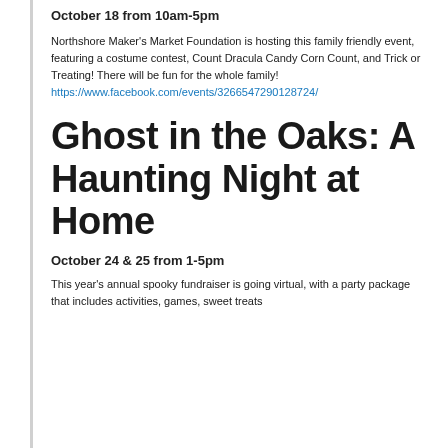October 18 from 10am-5pm
Northshore Maker's Market Foundation is hosting this family friendly event, featuring a costume contest, Count Dracula Candy Corn Count, and Trick or Treating! There will be fun for the whole family!
https://www.facebook.com/events/3266547290128724/
Ghost in the Oaks: A Haunting Night at Home
October 24 & 25 from 1-5pm
This year's annual spooky fundraiser is going virtual, with a party package that includes activities, games, sweet treats